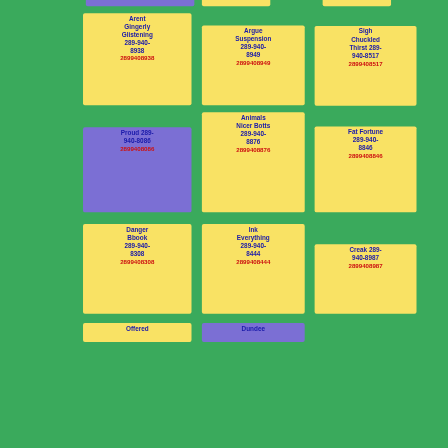[Figure (infographic): Grid of contact cards on green background with names and phone numbers. Cards are yellow or purple with blue text for names and red text for phone numbers.]
Arent Gingerly Glistening 289-940-8938 2899408938
Argue Suspension 289-940-8949 2899408949
Sigh Chuckled Thirst 289-940-8517 2899408517
Proud 289-940-8086 2899408086
Animals Nicer Botts 289-940-8876 2899408876
Fat Fortune 289-940-8846 2899408846
Danger Bbook 289-940-8308 2899408308
Ink Everything 289-940-8444 2899408444
Creak 289-940-8987 2899408987
Offered
Dundee